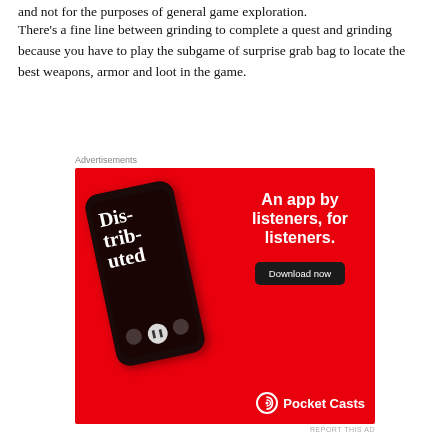and not for the purposes of general game exploration.
There's a fine line between grinding to complete a quest and grinding because you have to play the subgame of surprise grab bag to locate the best weapons, armor and loot in the game.
Advertisements
[Figure (photo): Pocket Casts advertisement showing a red background with a smartphone displaying a podcast app screen with 'Distributed' text, and the tagline 'An app by listeners, for listeners.' with a 'Download now' button and Pocket Casts logo.]
REPORT THIS AD